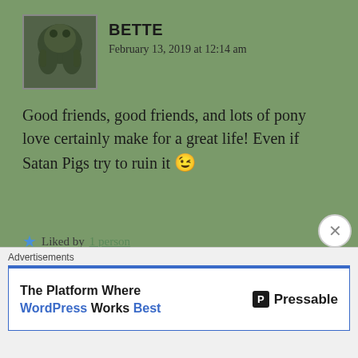BETTE
February 13, 2019 at 12:14 am
Good friends, good friends, and lots of pony love certainly make for a great life! Even if Satan Pigs try to ruin it 😉
⭐ Liked by 1 person
↳ Reply
BETTE
February 13, 2019 at 12:15 am
Advertisements
[Figure (screenshot): Advertisement banner for Pressable WordPress hosting platform. Text: The Platform Where WordPress Works Best. Logo: P Pressable.]